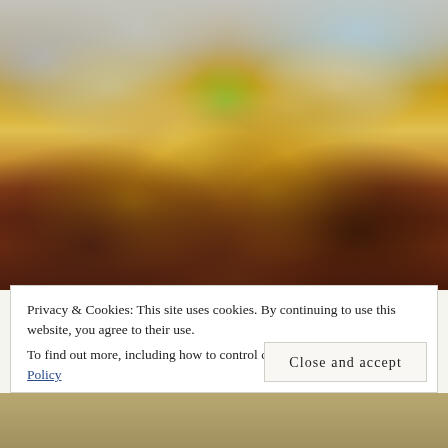[Figure (photo): Close-up photo of a grilled cheese sandwich cut in half, showing melted yellow cheese oozing out with pickles and dark meat/bacon visible between toasted bread slices. Salt and pepper shakers visible in background, along with a glass of iced coffee. Served in a paper-lined basket.]
Privacy & Cookies: This site uses cookies. By continuing to use this website, you agree to their use.
To find out more, including how to control cookies, see here: Cookie Policy
Close and accept